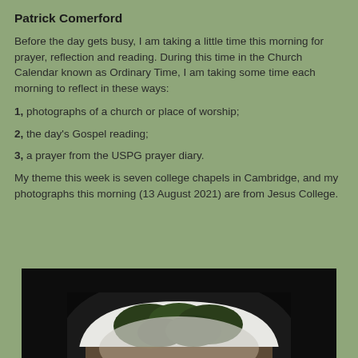Patrick Comerford
Before the day gets busy, I am taking a little time this morning for prayer, reflection and reading. During this time in the Church Calendar known as Ordinary Time, I am taking some time each morning to reflect in these ways:
1, photographs of a church or place of worship;
2, the day's Gospel reading;
3, a prayer from the USPG prayer diary.
My theme this week is seven college chapels in Cambridge, and my photographs this morning (13 August 2021) are from Jesus College.
[Figure (photo): A dark photo showing an arched stone gateway or passageway with trees and foliage visible through the arch, taken at Jesus College Cambridge.]